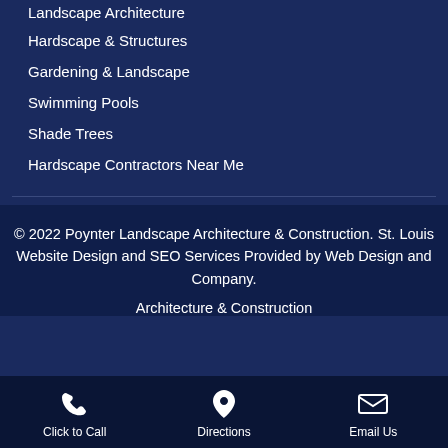Landscape Architecture
Hardscape & Structures
Gardening & Landscape
Swimming Pools
Shade Trees
Hardscape Contractors Near Me
© 2022 Poynter Landscape Architecture & Construction. St. Louis Website Design and SEO Services Provided by Web Design and Company.
Architecture & Construction
Click to Call | Directions | Email Us